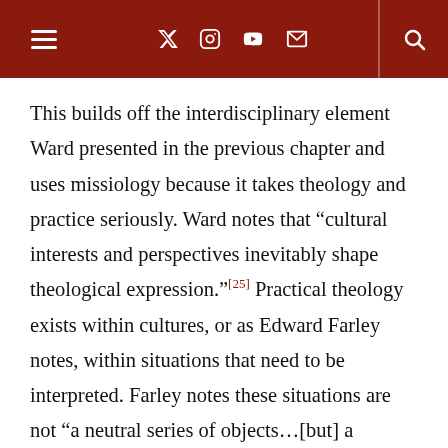≡  𝕏  ⊙  ▶  ✉    🔍
This builds off the interdisciplinary element Ward presented in the previous chapter and uses missiology because it takes theology and practice seriously. Ward notes that “cultural interests and perspectives inevitably shape theological expression.”[25] Practical theology exists within cultures, or as Edward Farley notes, within situations that need to be interpreted. Farley notes these situations are not “a neutral series of objects…[but] a concentration of powers which impinge upon us as individual agents or as communities.”[26]  Ward presents a